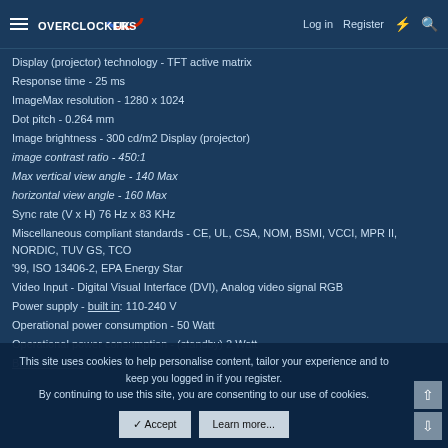Overclockers UK — Log in | Register
Display (projector) technology - TFT active matrix
Response time - 25 ms
ImageMax resolution - 1280 x 1024
Dot pitch - 0.264 mm
Image brightness - 300 cd/m2 Display (projector)
image contrast ratio - 450:1
Max vertical view angle - 140 Max
horizontal view angle - 160 Max
Sync rate (V x H) 76 Hz x 83 KHz
Miscellaneous compliant standards - CE, UL, CSA, NOM, BSMI, VCCI, MPR II, NORDIC, TUV GS, TCO '99, ISO 13406-2, EPA Energy Star
Video Input - Digital Visual Interface (DVI), Analog video signal RGB
Power supply - built in: 110-240 V
Operational power consumption - 50 Watt
Operational power consumption - (standby) 2 Watt
Built-in devices - Stereo speakers
This site uses cookies to help personalise content, tailor your experience and to keep you logged in if you register. By continuing to use this site, you are consenting to our use of cookies.